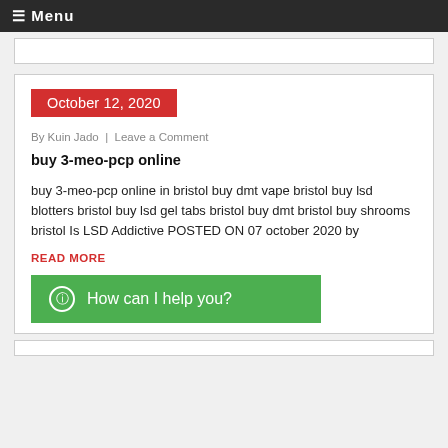≡ Menu
October 12, 2020
By Kuin Jado | Leave a Comment
buy 3-meo-pcp online
buy 3-meo-pcp online in bristol buy dmt vape bristol buy lsd blotters bristol buy lsd gel tabs bristol buy dmt bristol buy shrooms bristol Is LSD Addictive POSTED ON 07 october 2020 by
READ MORE
How can I help you?